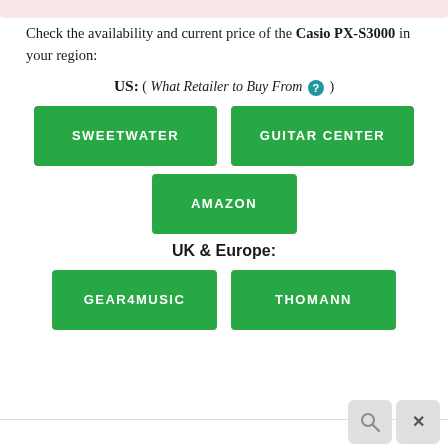Check the availability and current price of the Casio PX-S3000 in your region:
US: ( What Retailer to Buy From ? )
SWEETWATER
GUITAR CENTER
AMAZON
UK & Europe:
GEAR4MUSIC
THOMANN